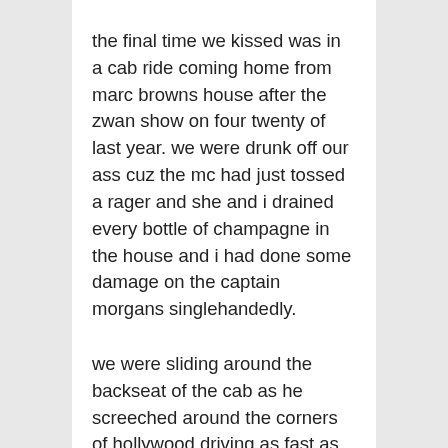the final time we kissed was in a cab ride coming home from marc browns house after the zwan show on four twenty of last year. we were drunk off our ass cuz the mc had just tossed a rager and she and i drained every bottle of champagne in the house and i had done some damage on the captain morgans singlehandedly.
we were sliding around the backseat of the cab as he screeched around the corners of hollywood driving as fast as humanly possible and on the long stretch up vermont into the griffth park hills of her hideaway we realized that we'd known each other all these years and we hadnt really kissed. ever. not real ones at least.